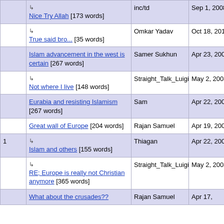|  | Post | Author | Date |
| --- | --- | --- | --- |
|  | ↳ Nice Try Allah [173 words] | inc/td | Sep 1, 2008 13:32 |
|  | ↳ True said bro... [35 words] | Omkar Yadav | Oct 18, 2015 22:47 |
|  | Islam advancement in the west is certain [267 words] | Samer Sukhun | Apr 23, 2008 21:18 |
|  | ↳ Not where I live [148 words] | Straight_Talk_Luigi | May 2, 2008 03:42 |
|  | Eurabia and resisting Islamism [267 words] | Sam | Apr 22, 2008 16:31 |
|  | Great wall of Europe [204 words] | Rajan Samuel | Apr 19, 2008 05:29 |
| 1 | ↳ Islam and others [155 words] | Thiagan | Apr 22, 2008 09:01 |
|  | ↳ RE; Europe is really not Christian anymore [365 words] | Straight_Talk_Luigi | May 2, 2008 03:27 |
|  | What about the crusades?? | Rajan Samuel | Apr 17, |